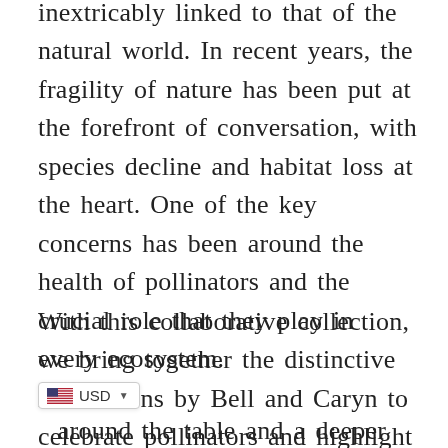inextricably linked to that of the natural world. In recent years, the fragility of nature has been put at the forefront of conversation, with species decline and habitat loss at the heart. One of the key concerns has been around the health of pollinators and the crucial role that they play in every ecosystem.
With this collaborative collection, we bring together the distinctive illustrations by Bell and Caryn to celebrate pollinators and highlight their relationships with both common and unique plantlife. to inspire around the table and a deeper connection to nature.